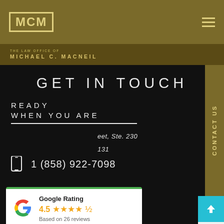MCM — The Law Office of Michael C. MacNeil
GET IN TOUCH
READY
WHEN YOU ARE
1 (858) 922-7098
[Figure (other): Google Rating card showing 4.5 stars based on 26 reviews]
eet, Ste. 230
131
CONTACT US